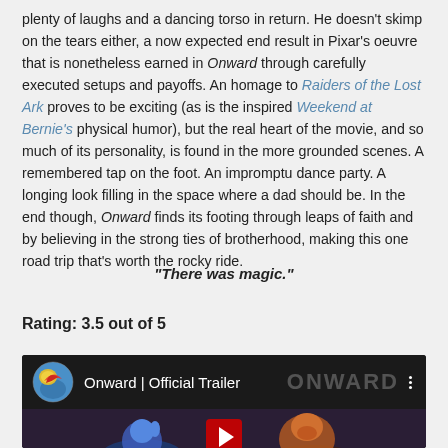plenty of laughs and a dancing torso in return. He doesn't skimp on the tears either, a now expected end result in Pixar's oeuvre that is nonetheless earned in Onward through carefully executed setups and payoffs. An homage to Raiders of the Lost Ark proves to be exciting (as is the inspired Weekend at Bernie's physical humor), but the real heart of the movie, and so much of its personality, is found in the more grounded scenes. A remembered tap on the foot. An impromptu dance party. A longing look filling in the space where a dad should be. In the end though, Onward finds its footing through leaps of faith and by believing in the strong ties of brotherhood, making this one road trip that's worth the rocky ride.
“There was magic.”
Rating: 3.5 out of 5
[Figure (screenshot): YouTube video thumbnail for 'Onward | Official Trailer' with Pixar ball logo icon, dark background showing animated characters, and a play button.]